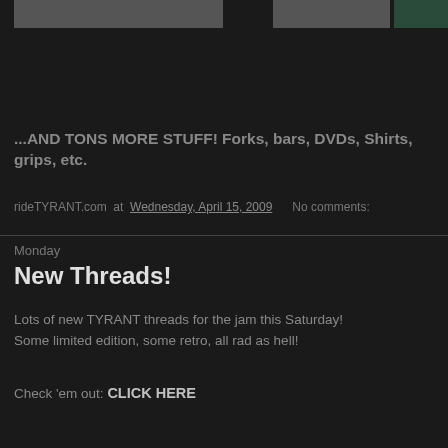[Figure (photo): Top image strip showing partial photos — a wide gray/beige image on the left, a mid-width gray image in the center-right, and a small dark green image on the far right.]
...AND TONS MORE STUFF! Forks, bars, DVDs, Shirts, grips, etc.
rideTYRANT.com at Wednesday, April 15, 2009    No comments:
Monday
New Threads!
Lots of new TYRANT threads for the jam this Saturday! Some limited edition, some retro, all rad as hell!
Check 'em out: CLICK HERE